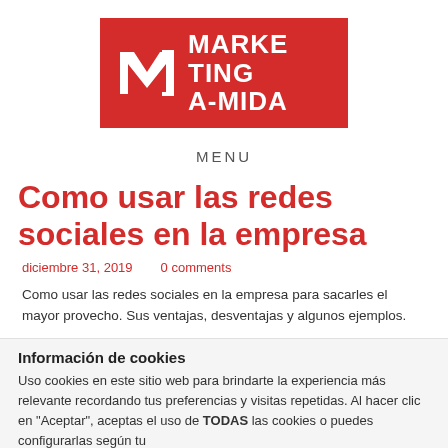[Figure (logo): Marketing A-MIDA logo: red background with white M bracket symbol and white bold text MARKE TING A-MIDA]
MENU
Como usar las redes sociales en la empresa
diciembre 31, 2019   0 comments
Como usar las redes sociales en la empresa para sacarles el mayor provecho. Sus ventajas, desventajas y algunos ejemplos.
Información de cookies
Uso cookies en este sitio web para brindarte la experiencia más relevante recordando tus preferencias y visitas repetidas. Al hacer clic en "Aceptar", aceptas el uso de TODAS las cookies o puedes configurarlas según tu